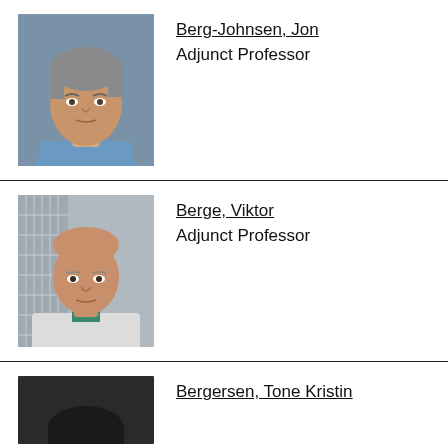[Figure (photo): Portrait photo of Jon Berg-Johnsen, middle-aged man with grey hair, wearing a blue shirt, professional headshot]
Berg-Johnsen, Jon
Adjunct Professor
[Figure (photo): Portrait photo of Viktor Berge, bald man wearing a white medical coat with green scrubs, professional headshot]
Berge, Viktor
Adjunct Professor
[Figure (photo): Portrait photo of Tone Kristin Bergersen, partial view, dark background]
Bergersen, Tone Kristin